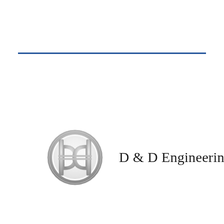[Figure (logo): D & D Engineering, Inc. company logo: a circular emblem with chrome/silver finish containing stylized D letters, accompanied by company name text in serif font]
D & D Engineering, Inc.